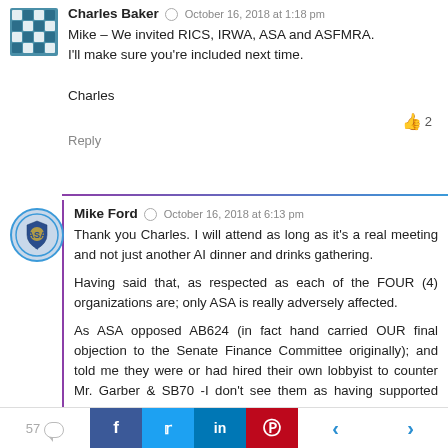Charles Baker · October 16, 2018 at 1:18 pm
Mike – We invited RICS, IRWA, ASA and ASFMRA. I'll make sure you're included next time.

Charles
👍 2
Reply
Mike Ford · October 16, 2018 at 6:13 pm
Thank you Charles. I will attend as long as it's a real meeting and not just another AI dinner and drinks gathering.

Having said that, as respected as each of the FOUR (4) organizations are; only ASA is really adversely affected.

As ASA opposed AB624 (in fact hand carried OUR final objection to the Senate Finance Committee originally); and told me they were or had hired their own lobbyist to counter Mr. Garber & SB70 -I don't see them as having supported your vision.

I'm looking forward to in depth discussions with ASA on a lot of topics at Appraiserfest in San Antonio at the end of the month. ASA regularly do...
57  f  t  in  p  < >